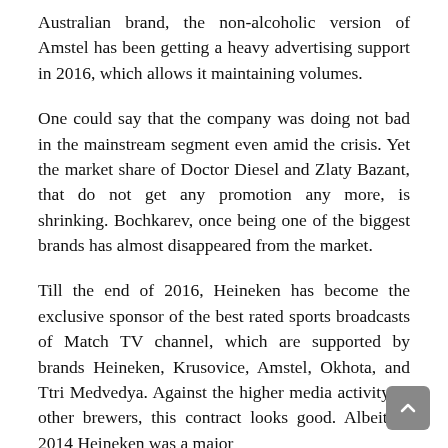Australian brand, the non-alcoholic version of Amstel has been getting a heavy advertising support in 2016, which allows it maintaining volumes.
One could say that the company was doing not bad in the mainstream segment even amid the crisis. Yet the market share of Doctor Diesel and Zlaty Bazant, that do not get any promotion any more, is shrinking. Bochkarev, once being one of the biggest brands has almost disappeared from the market.
Till the end of 2016, Heineken has become the exclusive sponsor of the best rated sports broadcasts of Match TV channel, which are supported by brands Heineken, Krusovice, Amstel, Okhota, and Ttri Medvedya. Against the higher media activity of other brewers, this contract looks good. Albeit in 2014 Heineken was a major